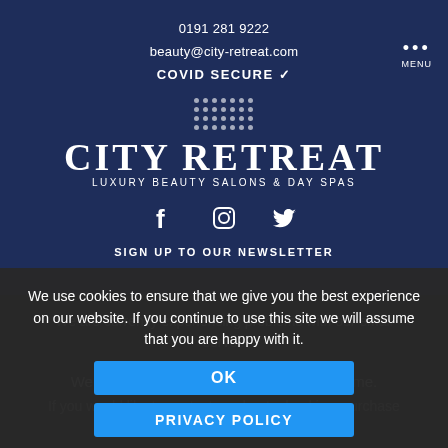0191 281 9222
beauty@city-retreat.com
COVID SECURE ✓
[Figure (logo): City Retreat logo with dot grid pattern above text reading CITY RETREAT, LUXURY BEAUTY SALONS & DAY SPAS]
[Figure (illustration): Social media icons: Facebook, Instagram, Twitter]
SIGN UP TO OUR NEWSLETTER
We are currently experiencing problems with our email server.
We cannot send or receive emails at this time.
If you would like to contact us about a booking, purchase
We use cookies to ensure that we give you the best experience on our website. If you continue to use this site we will assume that you are happy with it.
OK
PRIVACY POLICY